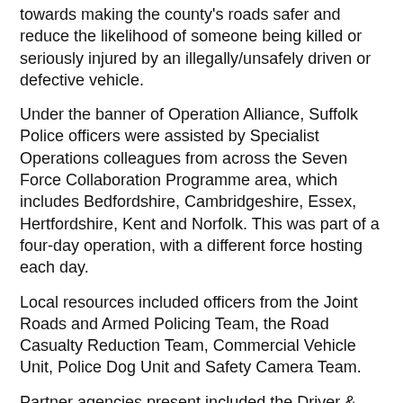towards making the county's roads safer and reduce the likelihood of someone being killed or seriously injured by an illegally/unsafely driven or defective vehicle.
Under the banner of Operation Alliance, Suffolk Police officers were assisted by Specialist Operations colleagues from across the Seven Force Collaboration Programme area, which includes Bedfordshire, Cambridgeshire, Essex, Hertfordshire, Kent and Norfolk. This was part of a four-day operation, with a different force hosting each day.
Local resources included officers from the Joint Roads and Armed Policing Team, the Road Casualty Reduction Team, Commercial Vehicle Unit, Police Dog Unit and Safety Camera Team.
Partner agencies present included the Driver & Vehicle Standards Agency (DVSA), Driver & Vehicle Licensing Agency (DVLA), the National Vehicle Crime Intelligence Service (NaVCIS); Home Office Immigration Enforcement, HM Revenue & Customs, Gangmasters and Labour Abuse Authority (GLAA), Environment Agency and Suffolk Trading Standards.
104 vehicles were stopped by officers in total, 71 of which